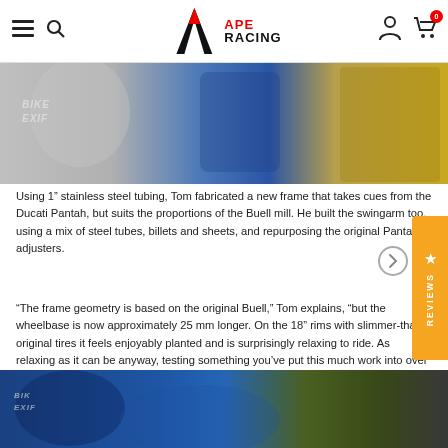APE RACING
[Figure (photo): Close-up photo of a custom motorcycle frame showing metalwork details with blue and gold tones, with 'BIKE EXIF' watermark]
Using 1” stainless steel tubing, Tom fabricated a new frame that takes cues from the Ducati Pantah, but suits the proportions of the Buell mill. He built the swingarm too, using a mix of steel tubes, billets and sheets, and repurposing the original Pantah adjusters.
“The frame geometry is based on the original Buell,” Tom explains, “but the wheelbase is now approximately 25 mm longer. On the 18” rims with slimmer-than-original tires it feels enjoyably planted and is surprisingly relaxing to ride. As relaxing as it can be anyway, testing something you’ve put this much work into over such a long period of time.”
[Figure (photo): Photo of a custom motorcycle in blue, showing frame and mechanical components with 'BIKE EXIF' watermark]